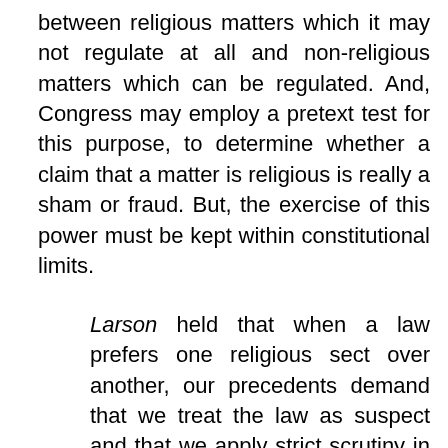between religious matters which it may not regulate at all and non-religious matters which can be regulated. And, Congress may employ a pretext test for this purpose, to determine whether a claim that a matter is religious is really a sham or fraud. But, the exercise of this power must be kept within constitutional limits.
Larson held that when a law prefers one religious sect over another, our precedents demand that we treat the law as suspect and that we apply strict scrutiny in adjudging its constitutionality [and further] . . . that rule must be invalidated unless it is justified by a compelling governmental interest . . . and